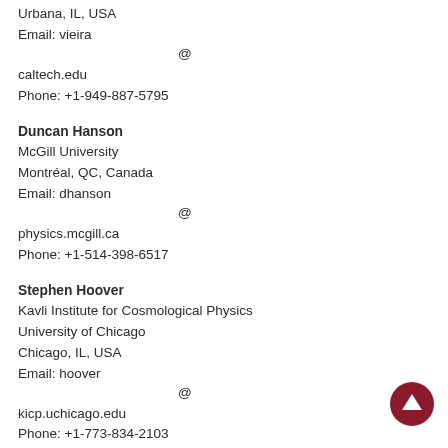Urbana, IL, USA
Email: vieira @ caltech.edu
Phone: +1-949-887-5795
Duncan Hanson
McGill University
Montréal, QC, Canada
Email: dhanson @ physics.mcgill.ca
Phone: +1-514-398-6517
Stephen Hoover
Kavli Institute for Cosmological Physics
University of Chicago
Chicago, IL, USA
Email: hoover @ kicp.uchicago.edu
Phone: +1-773-834-2103
Göran Pilbratt
Herschel Project Scientist